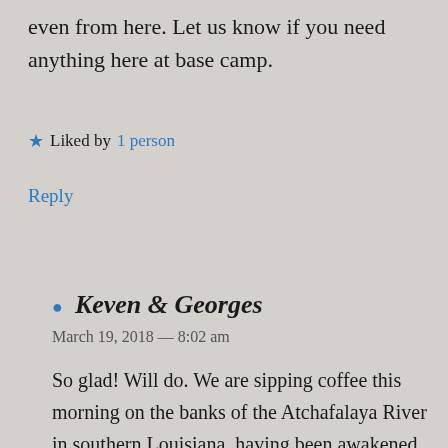even from here. Let us know if you need anything here at base camp.
★ Liked by 1 person
Reply
Keven & Georges  March 19, 2018 — 8:02 am
So glad! Will do. We are sipping coffee this morning on the banks of the Atchafalaya River in southern Louisiana, having been awakened by the rasp of a red-winged blackbird.